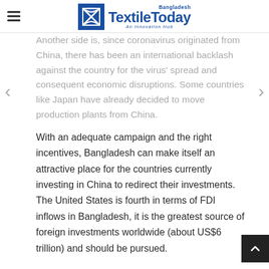TextileToday Bangladesh — An Innovation Hub
Another side is, since coronavirus originated from China, there has been an international backlash against the country for the virus' spread and consequent economic disruptions. Some countries like Japan have already decided to move production plants from China.
With an adequate campaign and the right incentives, Bangladesh can make itself an attractive place for the countries currently investing in China to redirect their investments. The United States is fourth in terms of FDI inflows in Bangladesh, it is the greatest source of foreign investments worldwide (about US$6 trillion) and should be pursued.